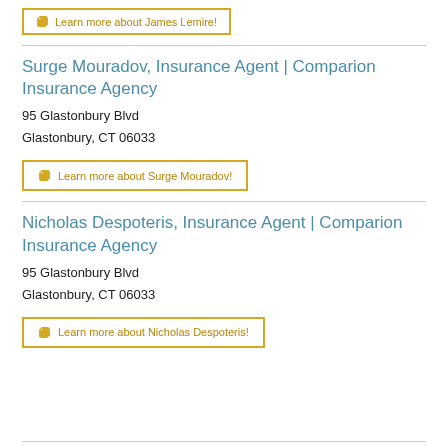Learn more about James Lemire!
Surge Mouradov, Insurance Agent | Comparion Insurance Agency
95 Glastonbury Blvd
Glastonbury, CT 06033
Learn more about Surge Mouradov!
Nicholas Despoteris, Insurance Agent | Comparion Insurance Agency
95 Glastonbury Blvd
Glastonbury, CT 06033
Learn more about Nicholas Despoteris!